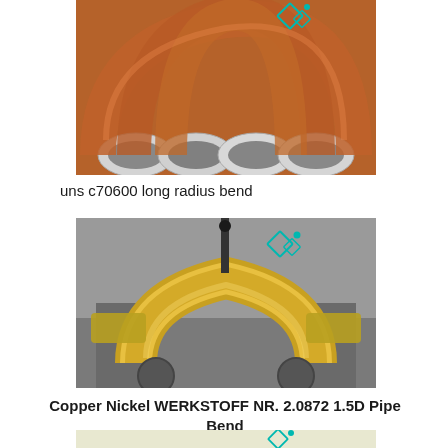[Figure (photo): Close-up of copper-nickel bent pipes (uns c70600 long radius bend), showing multiple U-bend tubes with orange-brown copper color and circular pipe ends, with teal diamond logo watermark overlay]
uns c70600 long radius bend
[Figure (photo): Close-up of a pipe bending machine holding a copper-nickel pipe bend (WERKSTOFF NR. 2.0872 1.5D), with metallic machinery components and golden-colored bent pipe, with teal diamond logo watermark overlay]
Copper Nickel WERKSTOFF NR. 2.0872 1.5D Pipe Bend
[Figure (photo): Partial view of a third pipe or bend item at bottom of page, with teal diamond logo watermark overlay]